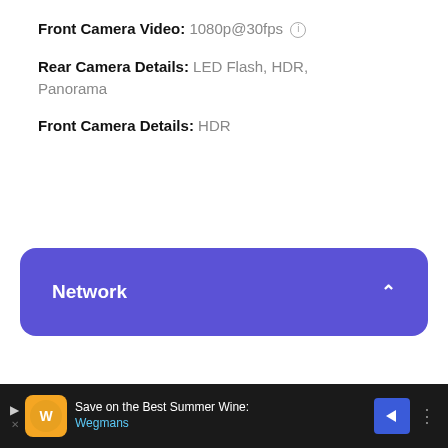Front Camera Video: 1080p@30fps
Rear Camera Details: LED Flash, HDR, Panorama
Front Camera Details: HDR
Network
Network: GSM / CDMA / HSPA / EVDO / LTE / 5G
4G Band: 1, 2, 3, 4, 5, 7, 8, 12, 17, 18, 19, 26,
Save on the Best Summer Wine: Wegmans